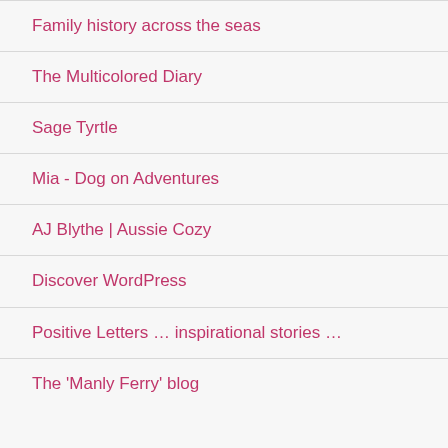Family history across the seas
The Multicolored Diary
Sage Tyrtle
Mia - Dog on Adventures
AJ Blythe | Aussie Cozy
Discover WordPress
Positive Letters … inspirational stories …
The 'Manly Ferry' blog